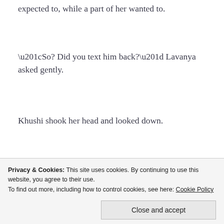expected to, while a part of her wanted to.
“So? Did you text him back?” Lavanya asked gently.
Khushi shook her head and looked down.
Privacy & Cookies: This site uses cookies. By continuing to use this website, you agree to their use.
To find out more, including how to control cookies, see here: Cookie Policy
Close and accept